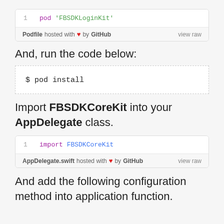[Figure (screenshot): GitHub gist code block showing: 1  pod 'FBSDKLoginKit' with footer: Podfile hosted with heart by GitHub  view raw]
And, run the code below:
[Figure (screenshot): Shell code block showing: $ pod install]
Import FBSDKCoreKit into your AppDelegate class.
[Figure (screenshot): GitHub gist code block showing: 1  import FBSDKCoreKit with footer: AppDelegate.swift hosted with heart by GitHub  view raw]
And add the following configuration method into application function.